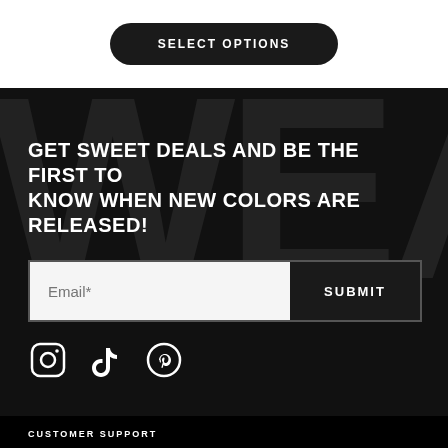[Figure (other): Black rounded rectangle button with white uppercase text 'SELECT OPTIONS']
GET SWEET DEALS AND BE THE FIRST TO KNOW WHEN NEW COLORS ARE RELEASED!
[Figure (other): Email input field with placeholder 'Email*' and black SUBMIT button]
[Figure (other): Social media icons: Instagram, TikTok, Pinterest in white on dark background]
CUSTOMER SUPPORT